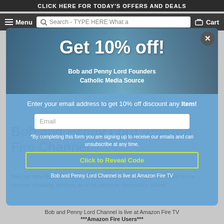CLICK HERE FOR TODAY'S OFFERS AND DEALS
Menu  Search - TYPE HERE What a  Cart
[Figure (screenshot): Modal popup overlay on an e-commerce website showing a 10% off discount offer. Contains promotional image strip with 'Get 10% off!' text, 'Bob and Penny Lord Founders Catholic Media Source' subtitle, email input field, fine print about signing up for emails, a 'Click to Reveal Code' button with yellow-green border, and a note about Amazon Fire TV channel.]
Bob and Penny Lord Amazon Fire Channel
You can view Bob and Penny Lord Channel on any device connected to the internet, including iphones, android, smart tv, computers, tablets...
Bob and Penny Lord Channel is live at Amazon Fire TV
***Amazon Fire Users***